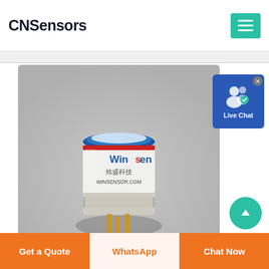CNSensors
[Figure (photo): Winsen electrochemical gas sensor module with cylindrical body, blue and red ring markings, label reading 'Winsen 炜盛科技 WINSENSOR.COM', and gold pin connectors at the bottom, on a grey background.]
Tous Les Catalogues Et Fiches Techniques (PDF) Gab...
Live Chat
Get a Quote
WhatsApp
Chat Now